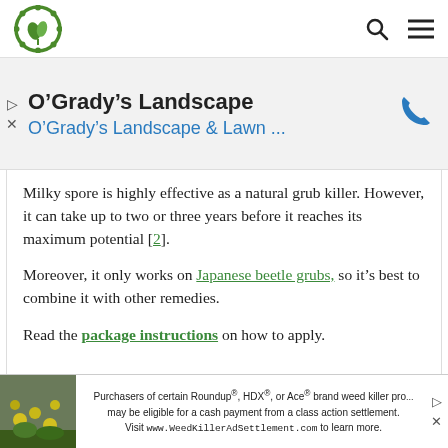O'Grady's Landscape — navigation bar with logo, search, and menu icons
[Figure (screenshot): Advertisement banner for O'Grady's Landscape & Lawn with phone icon]
Milky spore is highly effective as a natural grub killer. However, it can take up to two or three years before it reaches its maximum potential [2].
Moreover, it only works on Japanese beetle grubs, so it's best to combine it with other remedies.
Read the package instructions on how to apply.
[Figure (screenshot): Bottom advertisement banner: Purchasers of certain Roundup®, HDX®, or Ace® brand weed killer products may be eligible for a cash payment from a class action settlement. Visit www.WeedKillerAdSettlement.com to learn more.]